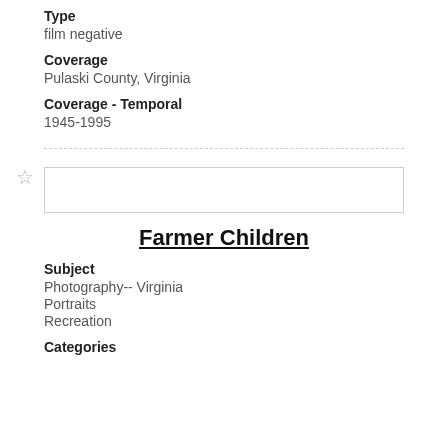Type
film negative
Coverage
Pulaski County, Virginia
Coverage - Temporal
1945-1995
Farmer Children
Subject
Photography-- Virginia
Portraits
Recreation
Categories